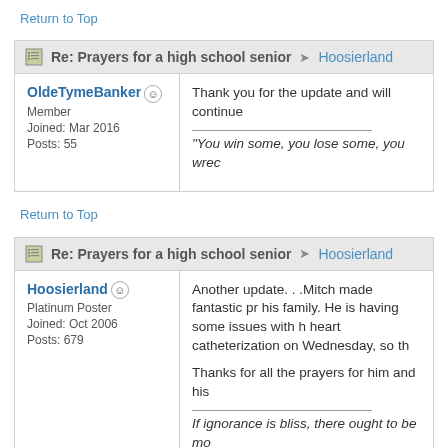Return to Top
Re: Prayers for a high school senior → Hoosierland
OldeTymeBanker
Member
Joined: Mar 2016
Posts: 55
Thank you for the update and will continue
"You win some, you lose some, you wrec
Return to Top
Re: Prayers for a high school senior → Hoosierland
Hoosierland
Platinum Poster
Joined: Oct 2006
Posts: 679
Another update. . .Mitch made fantastic pr his family. He is having some issues with b heart catheterization on Wednesday, so th

Thanks for all the prayers for him and his

If ignorance is bliss, there ought to be mo
Return to Top
Re: Prayers for a high school senior → Hoosierland